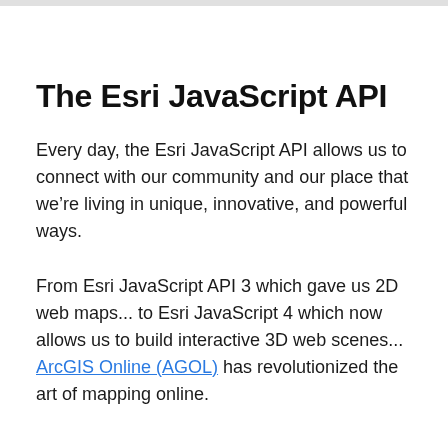The Esri JavaScript API
Every day, the Esri JavaScript API allows us to connect with our community and our place that we’re living in unique, innovative, and powerful ways.
From Esri JavaScript API 3 which gave us 2D web maps... to Esri JavaScript 4 which now allows us to build interactive 3D web scenes... ArcGIS Online (AGOL) has revolutionized the art of mapping online.